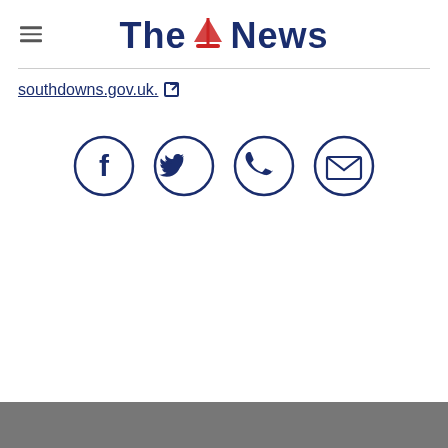The News
southdowns.gov.uk.
[Figure (infographic): Four circular social sharing icons in navy blue: Facebook, Twitter, WhatsApp phone, and Email/envelope]